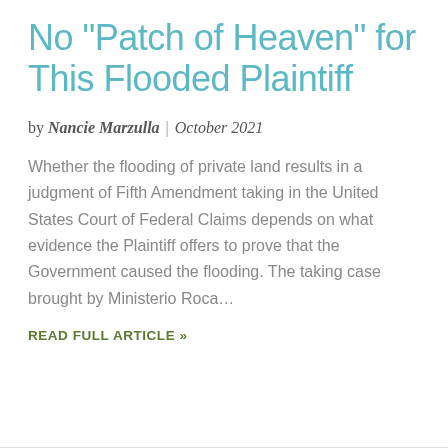No "Patch of Heaven" for This Flooded Plaintiff
by Nancie Marzulla | October 2021
Whether the flooding of private land results in a judgment of Fifth Amendment taking in the United States Court of Federal Claims depends on what evidence the Plaintiff offers to prove that the Government caused the flooding. The taking case brought by Ministerio Roca…
READ FULL ARTICLE »